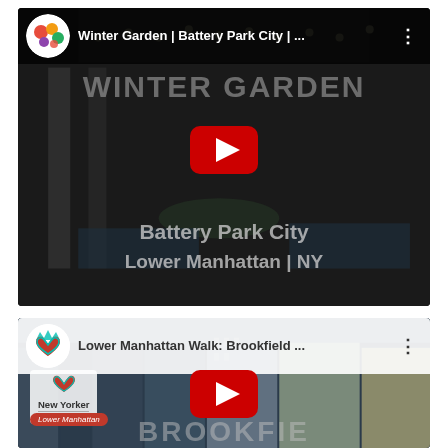[Figure (screenshot): YouTube video thumbnail for 'Winter Garden | Battery Park City | ...' with channel icon showing fruits, play button, and text overlays 'WINTER GARDEN' and 'Battery Park City / Lower Manhattan | NY' on a dark indoor scene background.]
[Figure (screenshot): YouTube video thumbnail for 'Lower Manhattan Walk: Brookfield ...' with New Yorker Tips channel icon, play button, New Yorker Tips logo overlay, 'Lower Manhattan' badge, and 'BROOKFIE...' text on a cityscape background.]